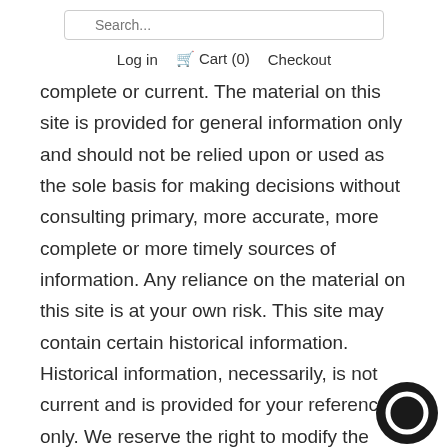Search... Log in Cart (0) Checkout
complete or current. The material on this site is provided for general information only and should not be relied upon or used as the sole basis for making decisions without consulting primary, more accurate, more complete or more timely sources of information. Any reliance on the material on this site is at your own risk. This site may contain certain historical information. Historical information, necessarily, is not current and is provided for your reference only. We reserve the right to modify the contents of this site at any time, but we have no obligation to update any information on